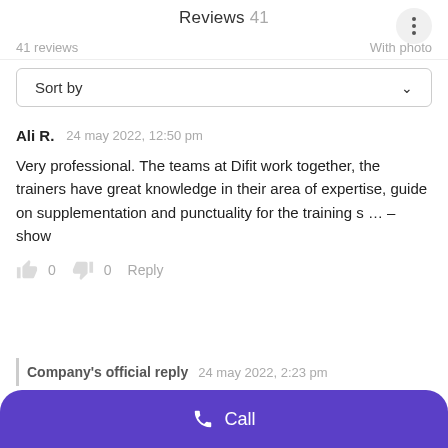Reviews 41
41 reviews    With photo
Sort by
Ali R.   24 may 2022, 12:50 pm
Very professional. The teams at Difit work together, the trainers have great knowledge in their area of expertise, guide on supplementation and punctuality for the training s ... – show
0   0   Reply
Company's official reply   24 may 2022, 2:23 pm
Call